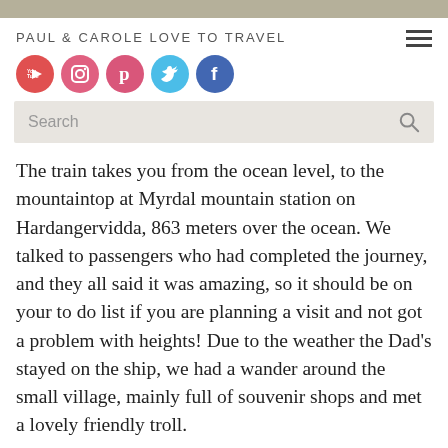PAUL & CAROLE LOVE TO TRAVEL
[Figure (infographic): Social media icons row: YouTube (red circle), Instagram (pink circle), Pinterest (pink-red circle), Twitter (light blue circle), Facebook (blue circle)]
The train takes you from the ocean level, to the mountaintop at Myrdal mountain station on Hardangervidda, 863 meters over the ocean. We talked to passengers who had completed the journey, and they all said it was amazing, so it should be on your to do list if you are planning a visit and not got a problem with heights! Due to the weather the Dad’s stayed on the ship, we had a wander around the small village, mainly full of souvenir shops and met a lovely friendly troll.